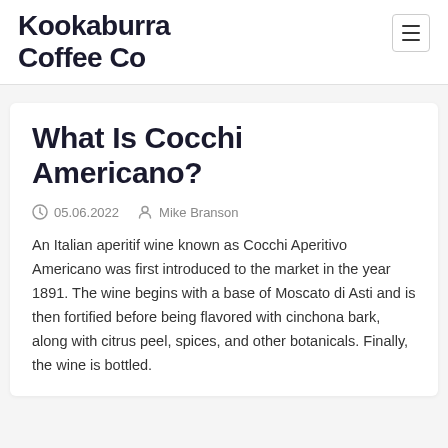Kookaburra Coffee Co
What Is Cocchi Americano?
05.06.2022   Mike Branson
An Italian aperitif wine known as Cocchi Aperitivo Americano was first introduced to the market in the year 1891. The wine begins with a base of Moscato di Asti and is then fortified before being flavored with cinchona bark, along with citrus peel, spices, and other botanicals. Finally, the wine is bottled.